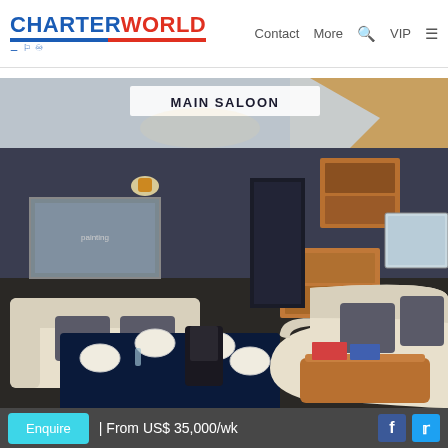CHARTERWORLD | Contact | More | VIP
[Figure (photo): Interior photo of a yacht main saloon showing cream leather sofas, a dining table set with navy blue cloth and white plates, wooden cabinetry, wall art, and warm lighting. Label 'MAIN SALOON' appears on the photo.]
Enquire | From US$ 35,000/wk